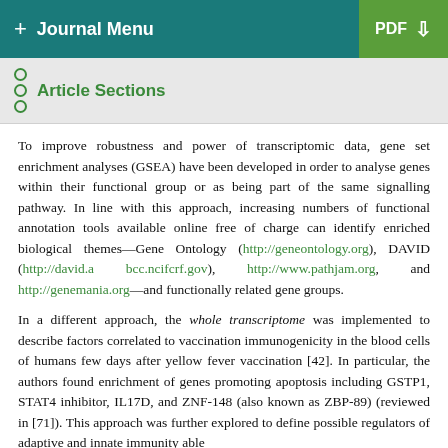+ Journal Menu  PDF ↓
Article Sections
To improve robustness and power of transcriptomic data, gene set enrichment analyses (GSEA) have been developed in order to analyse genes within their functional group or as being part of the same signalling pathway. In line with this approach, increasing numbers of functional annotation tools available online free of charge can identify enriched biological themes—Gene Ontology (http://geneontology.org), DAVID (http://david.abcc.ncifcrf.gov), http://www.pathjam.org, and http://genemania.org—and functionally related gene groups.
In a different approach, the whole transcriptome was implemented to describe factors correlated to vaccination immunogenicity in the blood cells of humans few days after yellow fever vaccination [42]. In particular, the authors found enrichment of genes promoting apoptosis including GSTP1, STAT4 inhibitor, IL17D, and ZNF-148 (also known as ZBP-89) (reviewed in [71]). This approach was further explored to define possible regulators of adaptive and innate immunity able